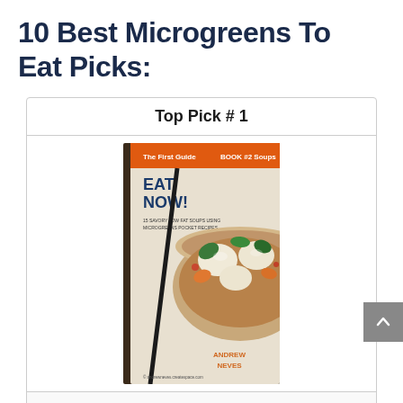10 Best Microgreens To Eat Picks:
Top Pick # 1
[Figure (photo): Book cover of 'Eat Now! Microgreen Soups: 15 Savory Low Fat Pocket Recipes (The Easy Guide to Microgreens Book 2)' by Andrew Neves, showing a bowl of soup with vegetables]
Eat Now! Microgreen Soups: 15 Savory Low Fat Pocket Recipes (The Easy Guide to Microgreens Book 2)